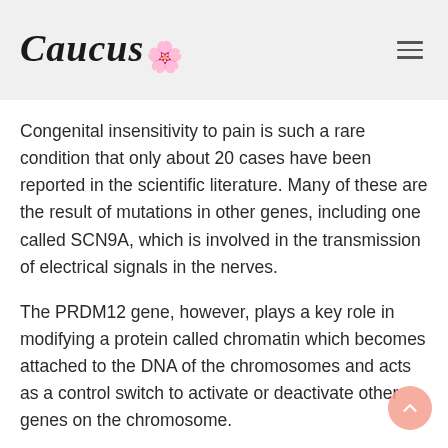Caucus [logo with flower]
Congenital insensitivity to pain is such a rare condition that only about 20 cases have been reported in the scientific literature. Many of these are the result of mutations in other genes, including one called SCN9A, which is involved in the transmission of electrical signals in the nerves.
The PRDM12 gene, however, plays a key role in modifying a protein called chromatin which becomes attached to the DNA of the chromosomes and acts as a control switch to activate or deactivate other genes on the chromosome.
Researchers showed in a study published